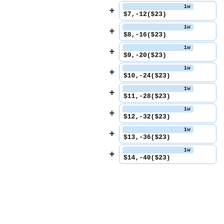+ 1w $7,-12($23)
+ 1w $8,-16($23)
+ 1w $9,-20($23)
+ 1w $10,-24($23)
+ 1w $11,-28($23)
+ 1w $12,-32($23)
+ 1w $13,-36($23)
+ 1w $14,-40($23)